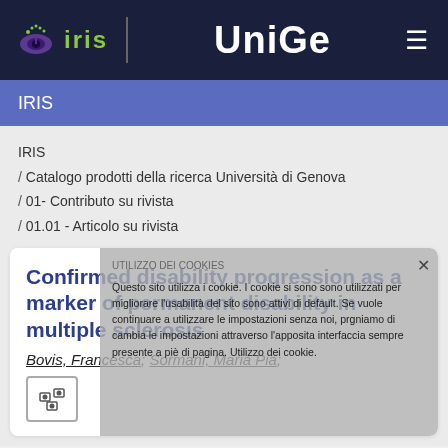IRIS | UniGe
IRIS
IRIS / Catalogo prodotti della ricerca Università di Genova / 01- Contributo su rivista / 01.01 - Articolo su rivista
Confirmed disability progression as a marker of permanent disability in multiple sclerosis
Bovis, Francesca; Sormani, Maria Pia;